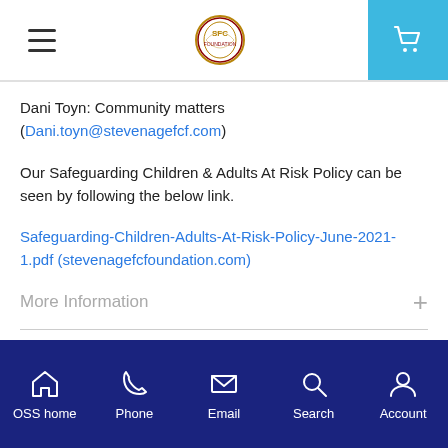Stevenage FC Foundation website header with hamburger menu, logo, and cart button
Dani Toyn: Community matters (Dani.toyn@stevenagefcf.com)
Our Safeguarding Children & Adults At Risk Policy can be seen by following the below link.
Safeguarding-Children-Adults-At-Risk-Policy-June-2021-1.pdf (stevenagefcfoundation.com)
More Information
OSS home | Phone | Email | Search | Account